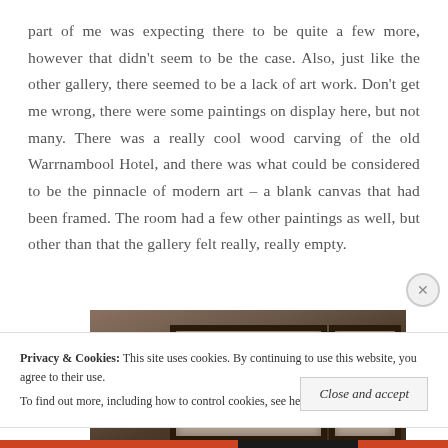part of me was expecting there to be quite a few more, however that didn't seem to be the case. Also, just like the other gallery, there seemed to be a lack of art work. Don't get me wrong, there were some paintings on display here, but not many. There was a really cool wood carving of the old Warrnambool Hotel, and there was what could be considered to be the pinnacle of modern art – a blank canvas that had been framed. The room had a few other paintings as well, but other than that the gallery felt really, really empty.
[Figure (photo): Photograph showing framed artworks or blank framed canvases hanging on a wall in a gallery, dimly lit]
Privacy & Cookies: This site uses cookies. By continuing to use this website, you agree to their use. To find out more, including how to control cookies, see here: Cookie Policy